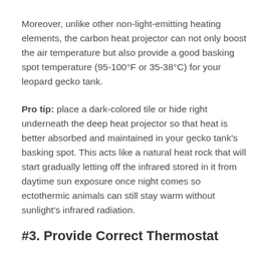Moreover, unlike other non-light-emitting heating elements, the carbon heat projector can not only boost the air temperature but also provide a good basking spot temperature (95-100°F or 35-38°C) for your leopard gecko tank.
Pro tip: place a dark-colored tile or hide right underneath the deep heat projector so that heat is better absorbed and maintained in your gecko tank's basking spot. This acts like a natural heat rock that will start gradually letting off the infrared stored in it from daytime sun exposure once night comes so ectothermic animals can still stay warm without sunlight's infrared radiation.
#3. Provide Correct Thermostat